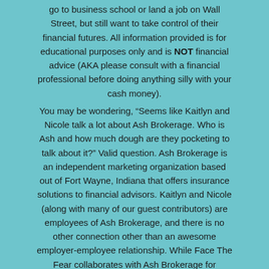go to business school or land a job on Wall Street, but still want to take control of their financial futures. All information provided is for educational purposes only and is NOT financial advice (AKA please consult with a financial professional before doing anything silly with your cash money). You may be wondering, “Seems like Kaitlyn and Nicole talk a lot about Ash Brokerage. Who is Ash and how much dough are they pocketing to talk about it?” Valid question. Ash Brokerage is an independent marketing organization based out of Fort Wayne, Indiana that offers insurance solutions to financial advisors. Kaitlyn and Nicole (along with many of our guest contributors) are employees of Ash Brokerage, and there is no other connection other than an awesome employer-employee relationship. While Face The Fear collaborates with Ash Brokerage for resources and content, Face The Fear is not sponsored (i.e. paid) by or directly affiliated with Ash Brokerage, nor does it promote or sell any specific financial or insurance products. (Please visit with a financial professional to meet those needs). Kaitlyn Orsborn and Nicole Ellsworth, the authors of Face...